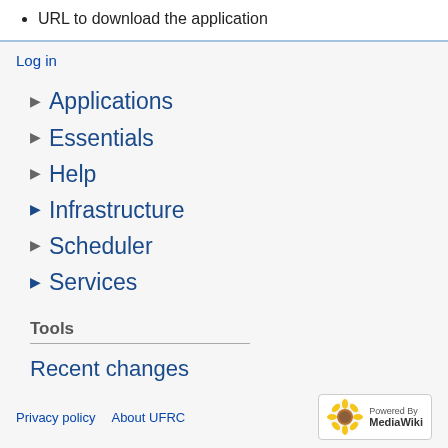URL to download the application
Log in
▶ Applications
▶ Essentials
▶ Help
▶ Infrastructure
▶ Scheduler
▶ Services
Tools
Recent changes
Help
Privacy policy  About UFRC  Powered by MediaWiki